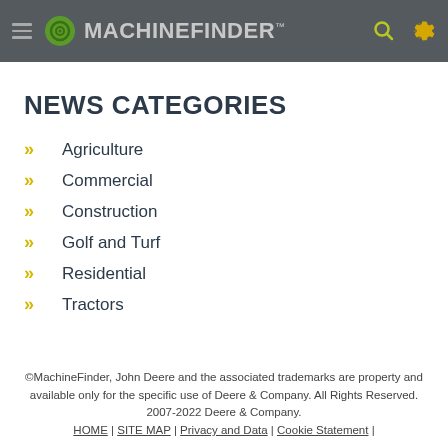MACHINEFINDER
NEWS CATEGORIES
Agriculture
Commercial
Construction
Golf and Turf
Residential
Tractors
©MachineFinder, John Deere and the associated trademarks are property and available only for the specific use of Deere & Company. All Rights Reserved. 2007-2022 Deere & Company. HOME | SITE MAP | Privacy and Data | Cookie Statement |